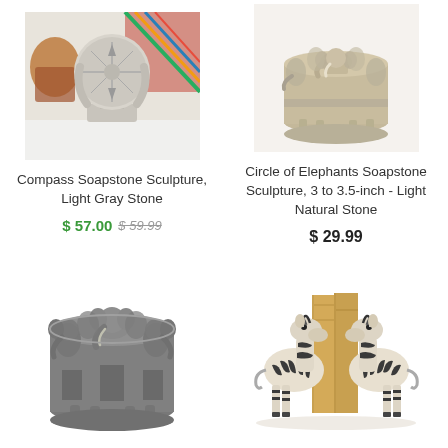[Figure (photo): Compass Soapstone Sculpture, Light Gray Stone - circular stone disc with compass carving on a stand, colorful woven fabric in background]
Compass Soapstone Sculpture, Light Gray Stone
$ 57.00 $ 59.99
[Figure (photo): Circle of Elephants Soapstone Sculpture, 3 to 3.5-inch - Light Natural Stone - circular arrangement of elephant figures carved in light natural soapstone]
Circle of Elephants Soapstone Sculpture, 3 to 3.5-inch - Light Natural Stone
$ 29.99
[Figure (photo): Circle of elephants soapstone sculpture in dark gray stone]
[Figure (photo): Zebra bookends holding books, carved wood with zebra stripe pattern]